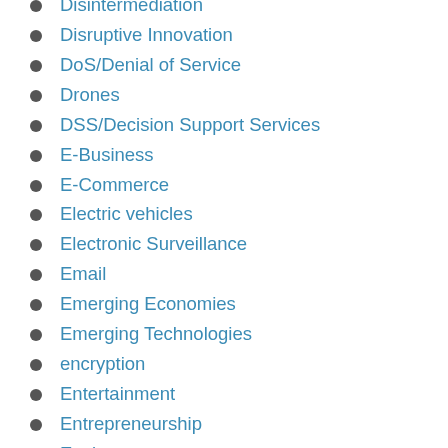Disintermediation
Disruptive Innovation
DoS/Denial of Service
Drones
DSS/Decision Support Services
E-Business
E-Commerce
Electric vehicles
Electronic Surveillance
Email
Emerging Economies
Emerging Technologies
encryption
Entertainment
Entrepreneurship
Environment
eSports
Ethical issues
eWaste
Facebook
Facial Recognition
Fake News
FinTech